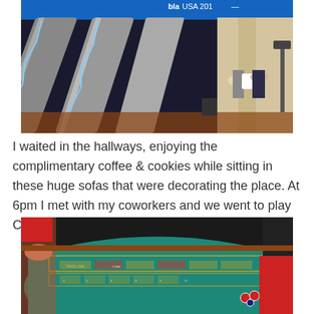[Figure (photo): Photo of an indoor escalator area, showing multiple escalators with shiny metal railings. Two people are walking in the background. A blue banner with text 'bla USA 201...' is visible at the top. The setting appears to be a convention center or hotel.]
I waited in the hallways, enjoying the complimentary coffee & cookies while sitting in these huge sofas that were decorating the place. At 6pm I met with my coworkers and we went to play Craps
[Figure (photo): Photo of a casino craps table with a green felt surface covered in betting layouts and markings. Several people's hands and arms are visible around the table. Casino chips are visible on the table surface.]